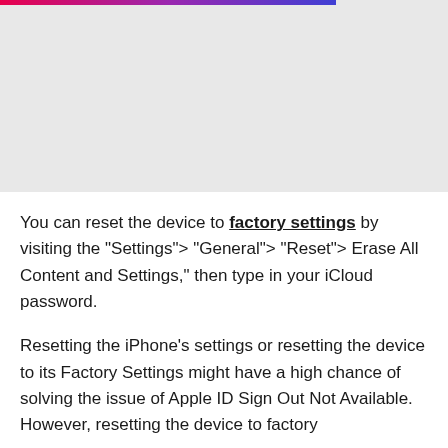[Figure (photo): Gray placeholder image area with a pink-purple-blue gradient bar at the top left portion]
You can reset the device to factory settings by visiting the “Settings”> “General”> “Reset”> Erase All Content and Settings,” then type in your iCloud password.
Resetting the iPhone’s settings or resetting the device to its Factory Settings might have a high chance of solving the issue of Apple ID Sign Out Not Available. However, resetting the device to factory